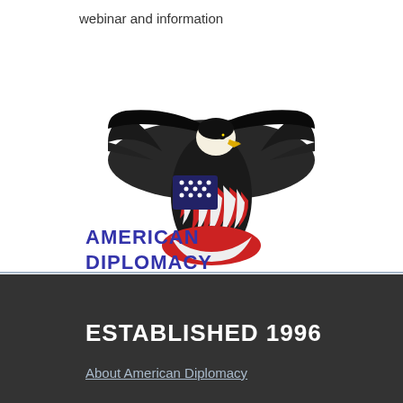webinar and information
[Figure (logo): Bald eagle with American flag, logo for American Diplomacy]
AMERICAN DIPLOMACY
ESTABLISHED 1996
About American Diplomacy